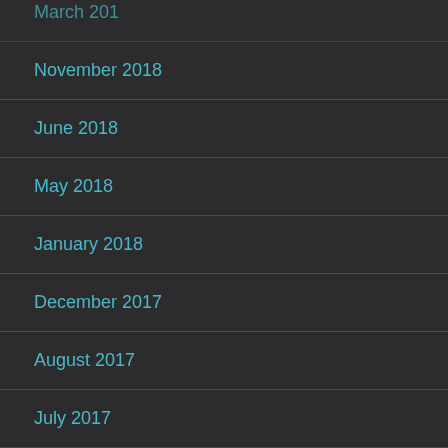March 2019
November 2018
June 2018
May 2018
January 2018
December 2017
August 2017
July 2017
June 2017